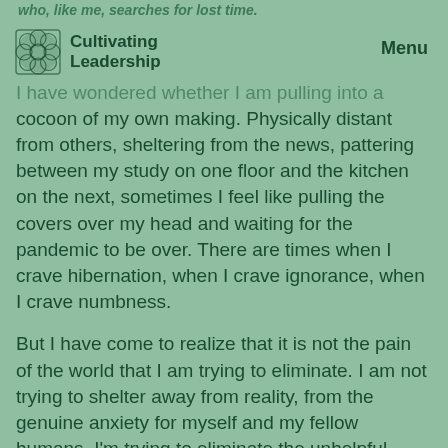who, like me, searches for lost time.
[Figure (logo): Cultivating Leadership logo with geometric flower pattern]
I have wondered whether I am pulling into a cocoon of my own making. Physically distant from others, sheltering from the news, pattering between my study on one floor and the kitchen on the next, sometimes I feel like pulling the covers over my head and waiting for the pandemic to be over. There are times when I crave hibernation, when I crave ignorance, when I crave numbness.
But I have come to realize that it is not the pain of the world that I am trying to eliminate. I am not trying to shelter away from reality, from the genuine anxiety for myself and my fellow humans. I'm trying to eliminate the unhelpful amplification of these things that I find in the newspapers and in the curated newsfeeds on Twitter. Somehow my body metabolizes the news the way it metabolizes a Twinkie—all sugar and processed flavors that amp up my system without giving me any